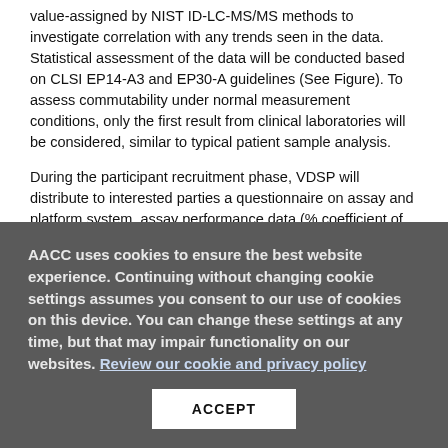value-assigned by NIST ID-LC-MS/MS methods to investigate correlation with any trends seen in the data. Statistical assessment of the data will be conducted based on CLSI EP14-A3 and EP30-A guidelines (See Figure). To assess commutability under normal measurement conditions, only the first result from clinical laboratories will be considered, similar to typical patient sample analysis.

During the participant recruitment phase, VDSP will distribute to interested parties a questionnaire on assay and platform system, assay performance data (% coefficient of variation [CV]), as well as verification that laboratories agree to be identified in eventual summary publications. The utility of a
AACC uses cookies to ensure the best website experience. Continuing without changing cookie settings assumes you consent to our use of cookies on this device. You can change these settings at any time, but that may impair functionality on our websites. Review our cookie and privacy policy
ACCEPT